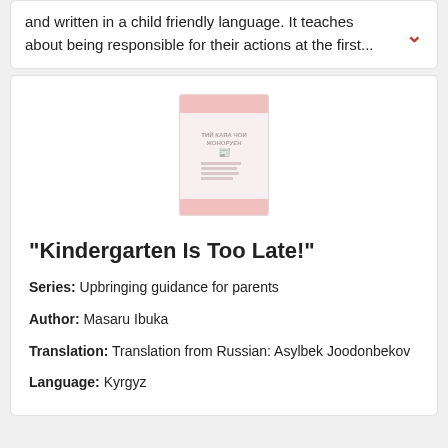and written in a child friendly language. It teaches about being responsible for their actions at the first...
[Figure (illustration): Book cover thumbnail for 'Kindergarten Is Too Late!' showing a faded/light book cover with red accent bars and small text]
"Kindergarten Is Too Late!"
Series: Upbringing guidance for parents
Author: Masaru Ibuka
Translation: Translation from Russian: Asylbek Joodonbekov
Language: Kyrgyz